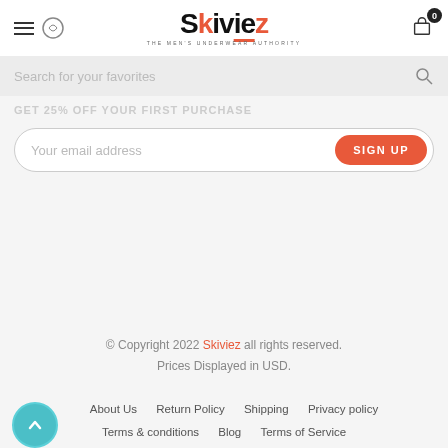Skiviez — The Men's Underwear Authority
Search for your favorites
GET 25% OFF YOUR FIRST PURCHASE
Your email address | SIGN UP
© Copyright 2022 Skiviez all rights reserved. Prices Displayed in USD.
About Us   Return Policy   Shipping   Privacy policy   Terms & conditions   Blog   Terms of Service